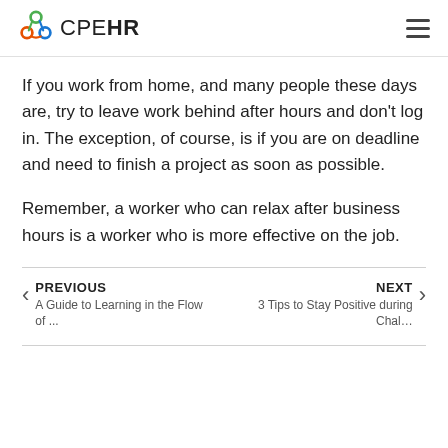CPEHR
If you work from home, and many people these days are, try to leave work behind after hours and don't log in. The exception, of course, is if you are on deadline and need to finish a project as soon as possible.
Remember, a worker who can relax after business hours is a worker who is more effective on the job.
PREVIOUS
A Guide to Learning in the Flow of ...
NEXT
3 Tips to Stay Positive during Chal...